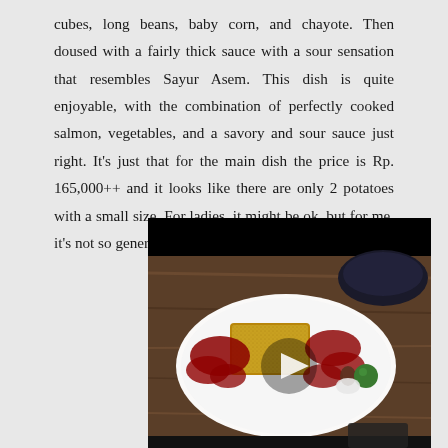cubes, long beans, baby corn, and chayote. Then doused with a fairly thick sauce with a sour sensation that resembles Sayur Asem. This dish is quite enjoyable, with the combination of perfectly cooked salmon, vegetables, and a savory and sour sauce just right. It's just that for the main dish the price is Rp. 165,000++ and it looks like there are only 2 potatoes with a small size. For ladies, it might be ok, but for me, it's not so generous.
[Figure (photo): A food photo showing a white rectangular plate with what appears to be a breaded/crusted fish fillet topped with red berry sauce, with a small green garnish and seeds on a wooden table. A dark bowl is visible in the background. A play button overlay indicates this is a video thumbnail.]